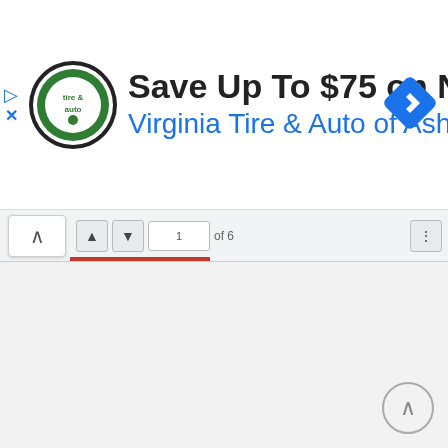[Figure (screenshot): Advertisement banner for Virginia Tire & Auto of Ashburn showing 'Save Up To $75 on New Tires' with logo, navigation icon on the right, play and close icons on the left]
[Figure (screenshot): Browser toolbar with back button showing up arrow, navigation controls, and a red/orange progress bar along the bottom edge]
[Figure (screenshot): Light gray empty content area of a web page with a circular scroll-to-top button in the bottom right corner]